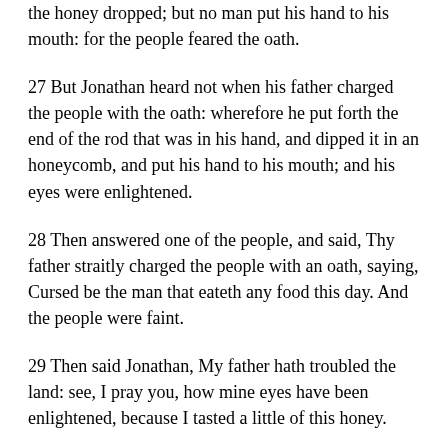the honey dropped; but no man put his hand to his mouth: for the people feared the oath.
27 But Jonathan heard not when his father charged the people with the oath: wherefore he put forth the end of the rod that was in his hand, and dipped it in an honeycomb, and put his hand to his mouth; and his eyes were enlightened.
28 Then answered one of the people, and said, Thy father straitly charged the people with an oath, saying, Cursed be the man that eateth any food this day. And the people were faint.
29 Then said Jonathan, My father hath troubled the land: see, I pray you, how mine eyes have been enlightened, because I tasted a little of this honey.
30 How much more, if haply the people had eaten freely to